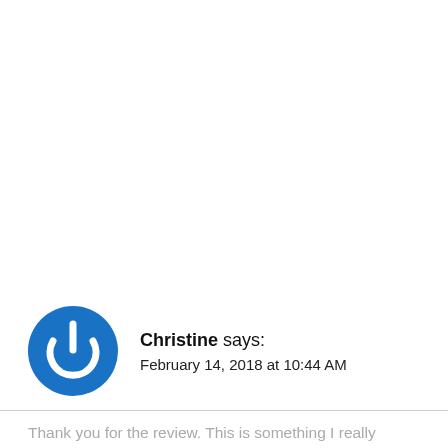[Figure (illustration): Blue circular avatar icon with a white power button symbol in the center]
Christine says: February 14, 2018 at 10:44 AM
Thank you for the review. This is something I really